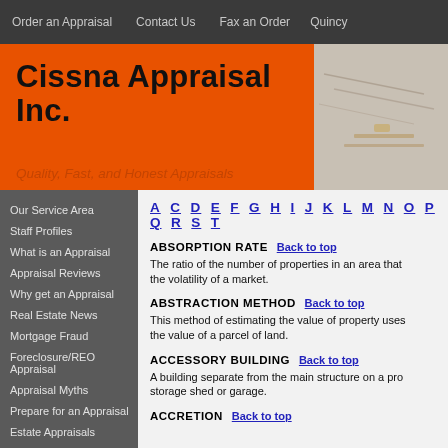Order an Appraisal   Contact Us   Fax an Order   Quincy
Cissna Appraisal Inc.
Quality, Fast, and Honest Appraisals
Our Service Area
Staff Profiles
What is an Appraisal
Appraisal Reviews
Why get an Appraisal
Real Estate News
Mortgage Fraud
Foreclosure/REO Appraisal
Appraisal Myths
Prepare for an Appraisal
Estate Appraisals
Buyer Appraisal Services
A C D E F G H I J K L M N O P Q R S T
ABSORPTION RATE
The ratio of the number of properties in an area that are sold over a period of time compared to the number available for sale. This rate is used to ascertain the volatility of a market.
ABSTRACTION METHOD
This method of estimating the value of property uses the selling prices of comparable improved properties to estimate the value of a parcel of land.
ACCESSORY BUILDING
A building separate from the main structure on a property, such as a storage shed or garage.
ACCRETION